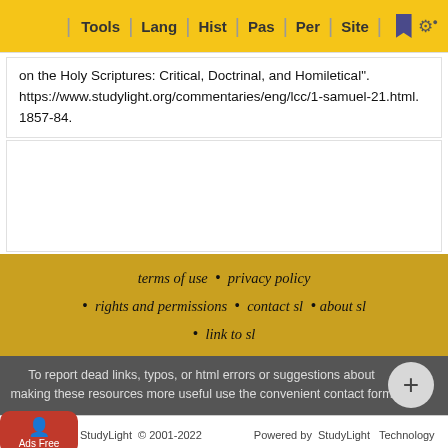Tools | Lang | Hist | Pas | Per | Site
on the Holy Scriptures: Critical, Doctrinal, and Homiletical". https://www.studylight.org/commentaries/eng/lcc/1-samuel-21.html. 1857-84.
terms of use  •  privacy policy  •  rights and permissions  •  contact sl  •  about sl  •  link to sl
To report dead links, typos, or html errors or suggestions about making these resources more useful use the convenient contact form
StudyLight  © 2001-2022  Powered by  StudyLight Technology